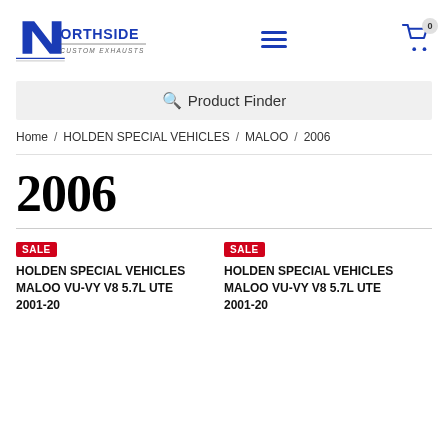[Figure (logo): Northside Custom Exhausts logo — stylized N with diagonal lines and blue/grey text]
Product Finder
Home / HOLDEN SPECIAL VEHICLES / MALOO / 2006
2006
SALE
HOLDEN SPECIAL VEHICLES MALOO VU-VY V8 5.7L UTE 2001-20
SALE
HOLDEN SPECIAL VEHICLES MALOO VU-VY V8 5.7L UTE 2001-20